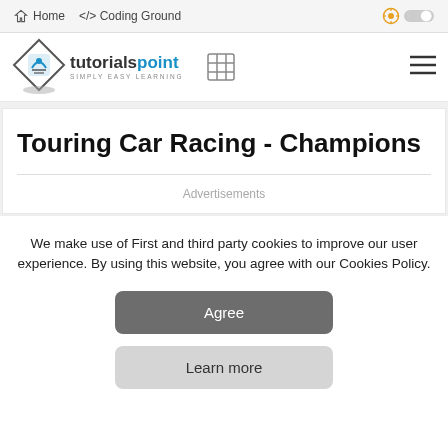Home  />  Coding Ground
[Figure (logo): Tutorialspoint logo with diamond shape and book icon, text 'tutorialspoint SIMPLY EASY LEARNING']
Touring Car Racing - Champions
Advertisements
We make use of First and third party cookies to improve our user experience. By using this website, you agree with our Cookies Policy.
Agree
Learn more